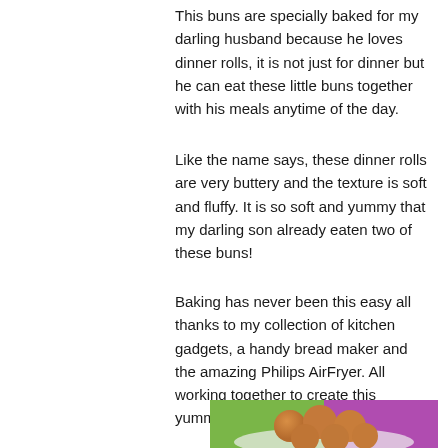This buns are specially baked for my darling husband because he loves dinner rolls, it is not just for dinner but he can eat these little buns together with his meals anytime of the day.
Like the name says, these dinner rolls are very buttery and the texture is soft and fluffy. It is so soft and yummy that my darling son already eaten two of these buns!
Baking has never been this easy all thanks to my collection of kitchen gadgets, a handy bread maker and the amazing Philips AirFryer. All working together to create this yummy dinner rolls.
[Figure (photo): A plate of golden-brown buttery dinner rolls/buns arranged together on a white plate, set against a background with green and purple sections.]